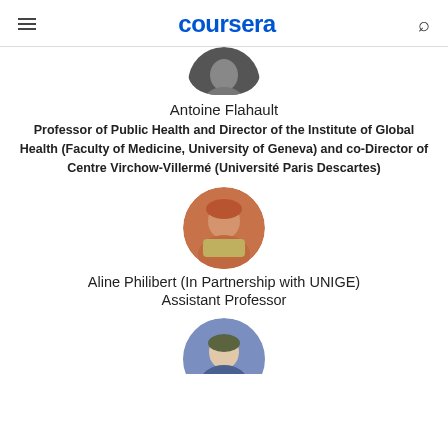coursera
[Figure (photo): Partial circular profile photo of Antoine Flahault, showing head and shoulders, black and white or dark toned]
Antoine Flahault
Professor of Public Health and Director of the Institute of Global Health (Faculty of Medicine, University of Geneva) and co-Director of Centre Virchow-Villermé (Université Paris Descartes)
[Figure (photo): Circular profile photo of Aline Philibert, woman with red/auburn hair, colorful top, warm background]
Aline Philibert (In Partnership with UNIGE)
Assistant Professor
[Figure (photo): Partial circular profile photo at bottom of page, man with dark hair, partially cut off]